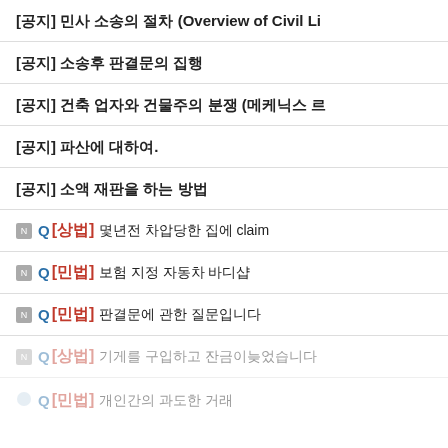[공지] 민사 소송의 절차 (Overview of Civil Li
[공지] 소송후 판결문의 집행
[공지] 건축 업자와 건물주의 분쟁 (메케닉스 르
[공지] 파산에 대하여.
[공지] 소액 재판을 하는 방법
Q [상법] 몇년전 차압당한 집에 claim
Q [민법] 보험 지정 자동차 바디샵
Q [민법] 판결문에 관한 질문입니다
Q [상법] 기게를 구입하고 잔금이늦었습니다
Q [민법] 개인간의 과도한 거래